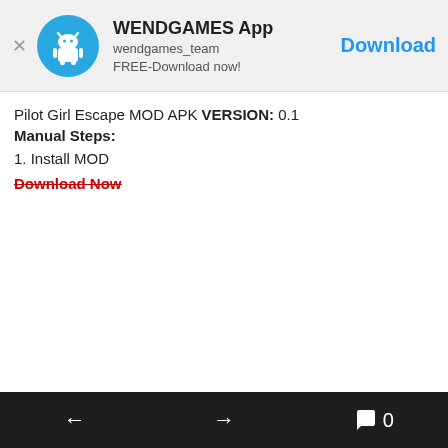[Figure (screenshot): Ad banner with WENDGAMES App icon (blue circle with Android robot), close button, app name, subtitle, and Download button]
Pilot Girl Escape MOD APK VERSION: 0.1
Manual Steps:
1. Install MOD
Download Now
← → 💬 0